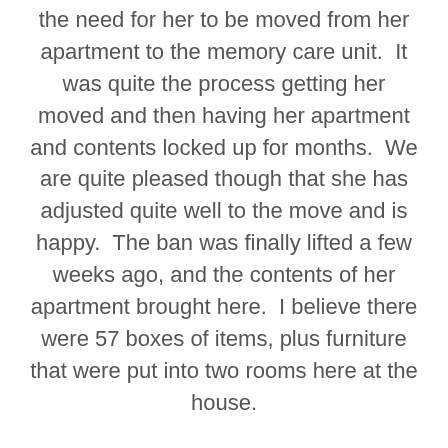the need for her to be moved from her apartment to the memory care unit.  It was quite the process getting her moved and then having her apartment and contents locked up for months.  We are quite pleased though that she has adjusted quite well to the move and is happy.  The ban was finally lifted a few weeks ago, and the contents of her apartment brought here.  I believe there were 57 boxes of items, plus furniture that were put into two rooms here at the house.
It has been quite the undertaking to go through her possessions.  I'm